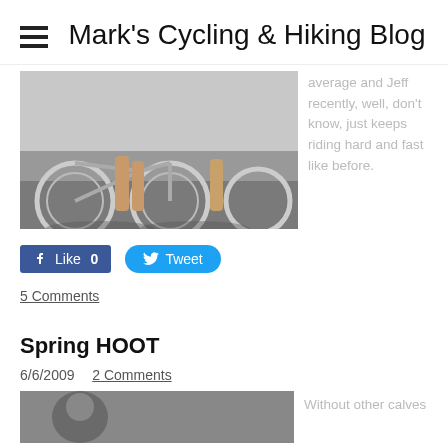Mark's Cycling & Hiking Blog
[Figure (photo): Photo of multiple bicycles with riders' legs visible, taken outdoors on pavement]
average and Jeff recently, well, don't know, just keeps riding hard and fast like before.
[Figure (other): Facebook Like button showing 0 likes]
[Figure (other): Twitter Tweet button]
5 Comments
Spring HOOT
6/6/2009  2 Comments
[Figure (photo): Partial photo at bottom of page, cropped]
Without other calves